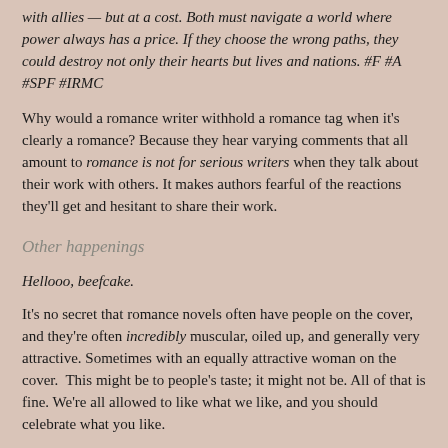with allies — but at a cost. Both must navigate a world where power always has a price. If they choose the wrong paths, they could destroy not only their hearts but lives and nations. #F #A #SPF #IRMC
Why would a romance writer withhold a romance tag when it's clearly a romance? Because they hear varying comments that all amount to romance is not for serious writers when they talk about their work with others. It makes authors fearful of the reactions they'll get and hesitant to share their work.
Other happenings
Hellooo, beefcake.
It's no secret that romance novels often have people on the cover, and they're often incredibly muscular, oiled up, and generally very attractive. Sometimes with an equally attractive woman on the cover.  This might be to people's taste; it might not be. All of that is fine. We're all allowed to like what we like, and you should celebrate what you like.